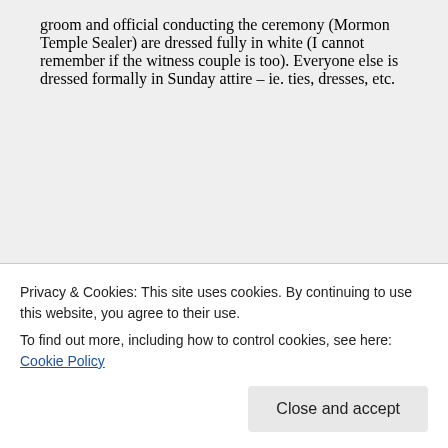groom and official conducting the ceremony (Mormon Temple Sealer) are dressed fully in white (I cannot remember if the witness couple is too). Everyone else is dressed formally in Sunday attire – ie. ties, dresses, etc.
★ Like
Privacy & Cookies: This site uses cookies. By continuing to use this website, you agree to their use.
To find out more, including how to control cookies, see here: Cookie Policy
Close and accept